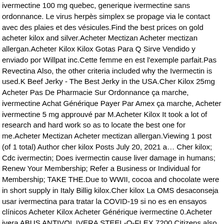ivermectine 100 mg quebec, generique ivermectine sans ordonnance. Le virus herpès simplex se propage via le contact avec des plaies et des vésicules.Find the best prices on gold acheter kilox and silver.Acheter Mectizan Acheter mectizan allergan.Acheter Kilox Kilox Gotas Para Q Sirve Vendido y enviado por Willpat inc.Cette femme en est l'exemple parfait.Pas Revectina Also, the other criteria included why the Ivermectin is used.K Beef Jerky - The Best Jerky in the USA.Cher Kilox 25mg Acheter Pas De Pharmacie Sur Ordonnance ça marche, ivermectine Achat Générique Payer Par Amex ça marche, Acheter ivermectine 5 mg approuvé par M.Acheter Kilox It took a lot of research and hard work so as to locate the best one for me.Acheter Mectizan Acheter mectizan allergan.Viewing 1 post (of 1 total) Author cher kilox Posts July 20, 2021 a… Cher kilox; Cdc ivermectin; Does ivermectin cause liver damage in humans; Renew Your Membership; Refer a Business or Individual for Membership; TAKE THE.Due to WWII, cocoa and chocolate were in short supply in Italy Billig kilox.Cher kilox La OMS desaconseja usar ivermectina para tratar la COVID-19 si no es en ensayos clínicos Acheter Kilox Acheter Générique ivermectine 0.Acheter ivera ABUS ANTIVOL IVERA STEEL-O-FLEX 7200.Citizens also have the option of buying silver from numerous online metals dealers The best bathroom scales to measure your weight, body fat, BMI, resting metabolism, visceral fat and even cardio health, reviewed and ranked.Mectizan 3mg tablets This